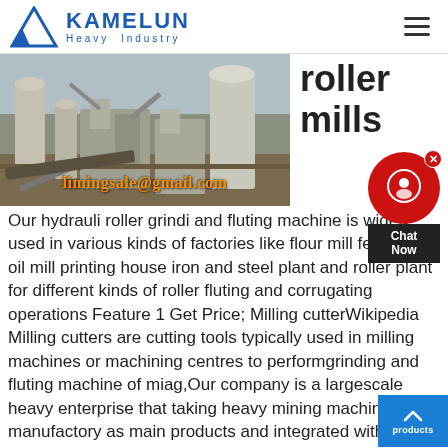KAMELUN Heavy Industry
[Figure (photo): Industrial roller mill machinery installation at a factory site, with large equipment and silos visible. Watermark text reads limingsale@gmail.com]
roller mills
Our hydraulic roller grinding and fluting machine is widely used in various kinds of factories like flour mill feed mill oil mill printing house iron and steel plant and roller plant for different kinds of roller fluting and corrugating operations Feature 1 Get Price; Milling cutterWikipedia Milling cutters are cutting tools typically used in milling machines or machining centres to performgrinding and fluting machine of miag,Our company is a largescale heavy enterprise that taking heavy mining machinery manufactory as main products and integrated with scientific research, production and